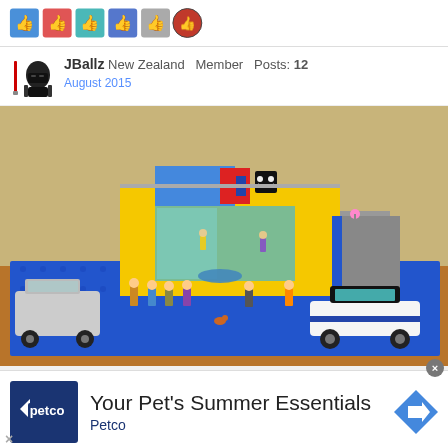[Figure (other): Row of six reaction/like button icons at the top of a forum post]
JBallz New Zealand Member Posts: 12
August 2015
[Figure (photo): Photo of a LEGO build on a blue baseplate showing a large yellow and blue building (resembling a pet store or mall) with LEGO minifigures in front, a police car on the right, and a vehicle on the left. The scene is set on a wooden table.]
[Figure (other): Petco advertisement banner: Petco logo on the left, 'Your Pet's Summer Essentials' text in the center, Petco label below, Google Maps-style arrow icon on the right]